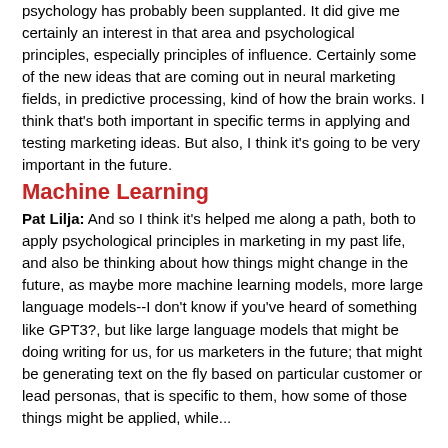psychology has probably been supplanted. It did give me certainly an interest in that area and psychological principles, especially principles of influence. Certainly some of the new ideas that are coming out in neural marketing fields, in predictive processing, kind of how the brain works. I think that's both important in specific terms in applying and testing marketing ideas. But also, I think it's going to be very important in the future.
Machine Learning
Pat Lilja: And so I think it's helped me along a path, both to apply psychological principles in marketing in my past life, and also be thinking about how things might change in the future, as maybe more machine learning models, more large language models--I don't know if you've heard of something like GPT3?, but like large language models that might be doing writing for us, for us marketers in the future; that might be generating text on the fly based on particular customer or lead personas, that is specific to them, how some of those things might be applied, while...